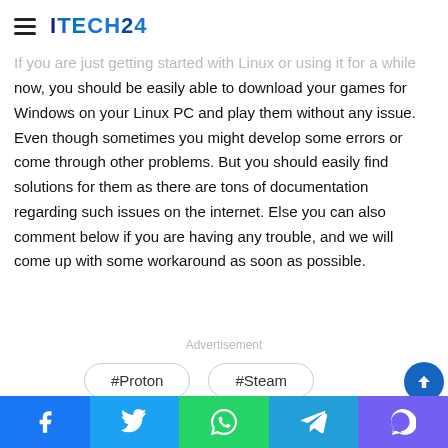Conclusion
ITECH24
If you are just getting started with Linux or using it for a while now, you should be easily able to download your games for Windows on your Linux PC and play them without any issue. Even though sometimes you might develop some errors or come through other problems. But you should easily find solutions for them as there are tons of documentation regarding such issues on the internet. Else you can also comment below if you are having any trouble, and we will come up with some workaround as soon as possible.
Advertisement
#Proton  #Steam
Facebook Twitter WhatsApp Telegram Viber